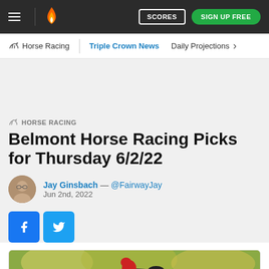SCORES | SIGN UP FREE
Horse Racing | Triple Crown News | Daily Projections
HORSE RACING
Belmont Horse Racing Picks for Thursday 6/2/22
Jay Ginsbach — @FairwayJay
Jun 2nd, 2022
[Figure (photo): Horse racing jockey on horseback, outdoor setting with blurred background of trees]